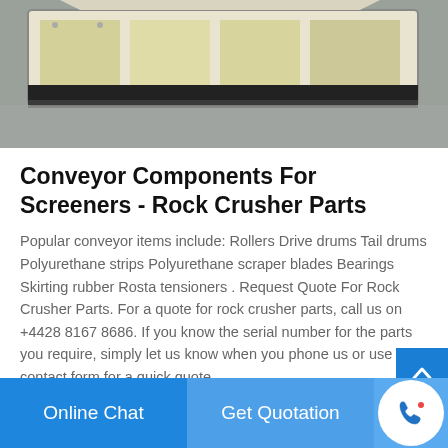[Figure (photo): Industrial machinery - conveyor/screener equipment in a warehouse or facility setting, top portion visible]
Conveyor Components For Screeners - Rock Crusher Parts
Popular conveyor items include: Rollers Drive drums Tail drums Polyurethane strips Polyurethane scraper blades Bearings Skirting rubber Rosta tensioners . Request Quote For Rock Crusher Parts. For a quote for rock crusher parts, call us on +4428 8167 8686. If you know the serial number for the parts you require, simply let us know when you phone us or use our contact form for a quick quote
[Figure (photo): Row of small thumbnail photos showing industrial equipment parts]
Online Chat
Get Quotation